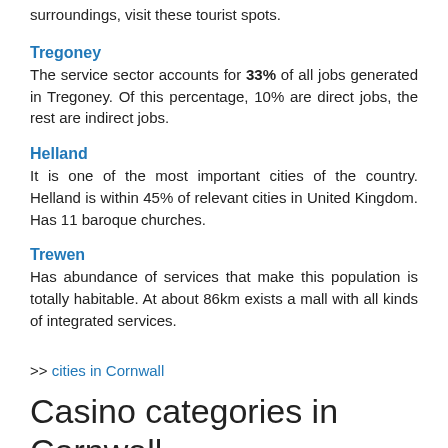surroundings, visit these tourist spots.
Tregoney
The service sector accounts for 33% of all jobs generated in Tregoney. Of this percentage, 10% are direct jobs, the rest are indirect jobs.
Helland
It is one of the most important cities of the country. Helland is within 45% of relevant cities in United Kingdom. Has 11 baroque churches.
Trewen
Has abundance of services that make this population is totally habitable. At about 86km exists a mall with all kinds of integrated services.
>> cities in Cornwall
Casino categories in Cornwall